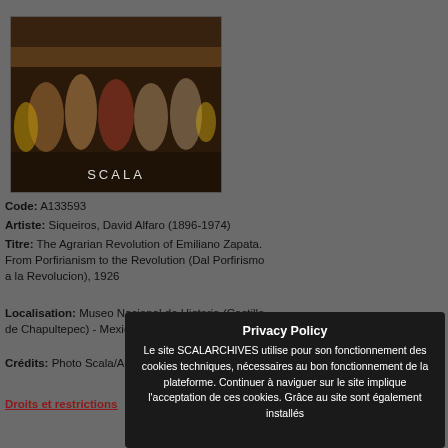[Figure (photo): Mural painting showing figures in an agrarian/revolutionary scene, with SCALA watermark at bottom]
Code: A133593
Artiste: Siqueiros, David Alfaro (1896-1974)
Titre: The Agrarian Revolution of Emiliano Zapata. From Porfirianism to the Revolution (Dal Porfirismo a la Revolucion), 1926
Localisation: Museo Nacional de Historia (Castillo de Chapultepec) - Mexico City
Crédits: Photo Scala/An R... Florence
Droits et restrictions
Privacy Policy
Le site SCALARCHIVES utilise pour son fonctionnement des cookies techniques, nécessaires au bon fonctionnement de la plateforme. Continuer à naviguer sur le site implique l'acceptation de ces cookies. Grâce au site sont également installés